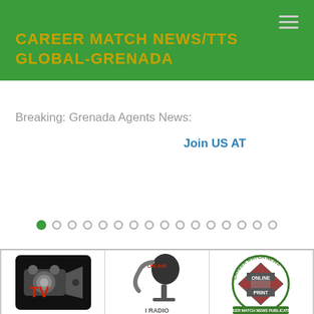CAREER MATCH NEWS/TTS GLOBAL-GRENADA
Breaking: Grenada Agents News:
Join US AT
[Figure (infographic): Carousel dot navigation row: one filled green dot followed by 15 empty circle dots]
[Figure (logo): Three logos in a horizontal strip: TV camera logo on black background, On Air radio microphone logo, Career Match News circular logo with Online and Print labels]